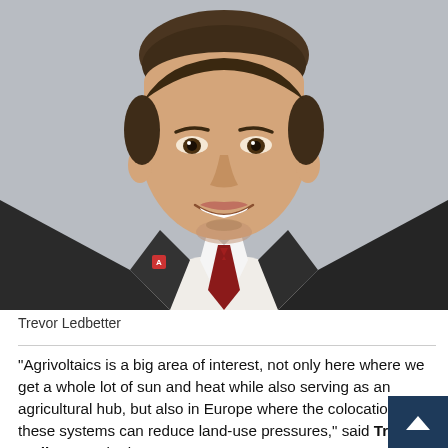[Figure (photo): Professional headshot of Trevor Ledbetter, a young man in a dark suit, white dress shirt, and dark red/maroon tie with a University of Arizona pin on the lapel. He is smiling, photographed against a light grey background.]
Trevor Ledbetter
"Agrivoltaics is a big area of interest, not only here where we get a whole lot of sun and heat while also serving as an agricultural hub, but also in Europe where the colocation of these systems can reduce land-use pressures," said Trevor Ledbetter, who is